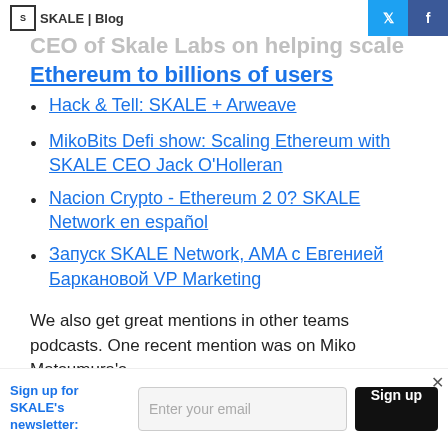SKALE | Blog
CEO of Skale Labs on helping scale Ethereum to billions of users
Hack & Tell: SKALE + Arweave
MikoBits Defi show: Scaling Ethereum with SKALE CEO Jack O'Holleran
Nacion Crypto - Ethereum 2 0? SKALE Network en español
Запуск SKALE Network, AMA с Евгенией Баркановой VP Marketing
We also get great mentions in other teams podcasts. One recent mention was on Miko Matsumura's